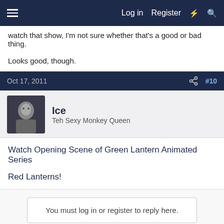Log in  Register
watch that show, I'm not sure whether that's a good or bad thing.

Looks good, though.
Oct 17, 2011  #10
Ice
Teh Sexy Monkey Queen
Watch Opening Scene of Green Lantern Animated Series

Red Lanterns!
You must log in or register to reply here.
Similar threads